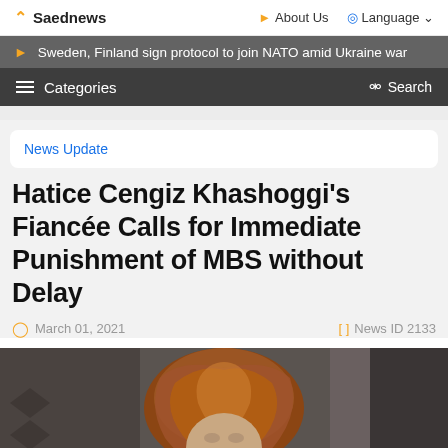Saednews   About Us   Language
Sweden, Finland sign protocol to join NATO amid Ukraine war
Categories   Search
News Update
Hatice Cengiz Khashoggi's Fiancée Calls for Immediate Punishment of MBS without Delay
March 01, 2021   News ID 2133
[Figure (photo): Photo of Hatice Cengiz wearing a brown/copper headscarf, partially cropped at bottom of page]